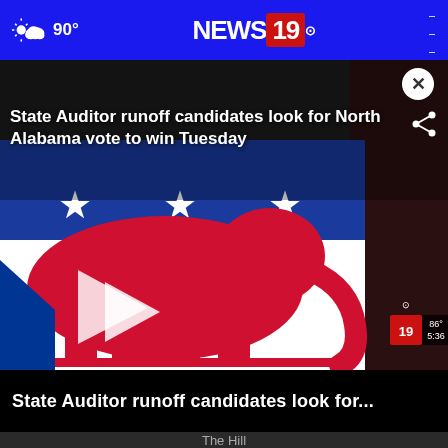90° NEWS19
[Figure (screenshot): Video thumbnail showing Republican elephant logo with blue top and red body, with play button overlay. Title 'State Auditor runoff candidates look for North Alabama vote to win Tuesday' overlaid on the image. News19 watermark with 86° 5:36 in bottom right corner.]
State Auditor runoff candidates look for...
The Hill